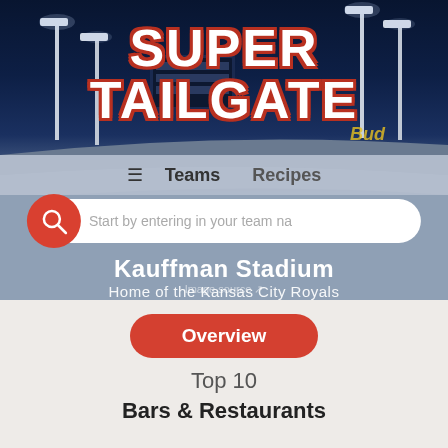[Figure (screenshot): Super Tailgate website hero section showing Kauffman Stadium at night with stadium lights, dark blue sky background]
SUPER TAILGATE
≡  Teams    Recipes
Start by entering in your team na
Kauffman Stadium
Home of the Kansas City Royals
Image source ↗
Overview
Top 10
Bars & Restaurants